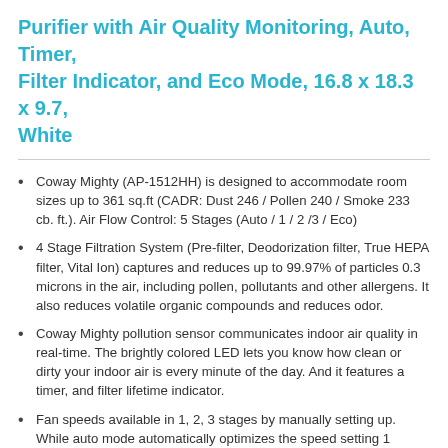Purifier with Air Quality Monitoring, Auto, Timer, Filter Indicator, and Eco Mode, 16.8 x 18.3 x 9.7, White
Coway Mighty (AP-1512HH) is designed to accommodate room sizes up to 361 sq.ft (CADR: Dust 246 / Pollen 240 / Smoke 233 cb. ft.). Air Flow Control: 5 Stages (Auto / 1 / 2 /3 / Eco)
4 Stage Filtration System (Pre-filter, Deodorization filter, True HEPA filter, Vital Ion) captures and reduces up to 99.97% of particles 0.3 microns in the air, including pollen, pollutants and other allergens. It also reduces volatile organic compounds and reduces odor.
Coway Mighty pollution sensor communicates indoor air quality in real-time. The brightly colored LED lets you know how clean or dirty your indoor air is every minute of the day. And it features a timer, and filter lifetime indicator.
Fan speeds available in 1, 2, 3 stages by manually setting up. While auto mode automatically optimizes the speed setting 1 through 3 based on the level of indoor air quality. And it provides the best performance.